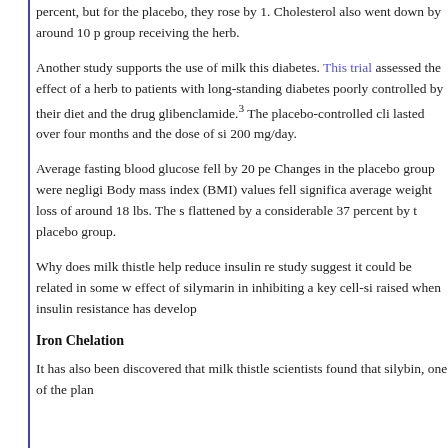percent, but for the placebo, they rose by 1... Cholesterol also went down by around 10 p... group receiving the herb.
Another study supports the use of milk this... diabetes. This trial assessed the effect of a... herb to patients with long-standing diabetes... poorly controlled by their diet and the drug glibenclamide.3 The placebo-controlled cli... lasted over four months and the dose of si... 200 mg/day.
Average fasting blood glucose fell by 20 pe... Changes in the placebo group were negligi... Body mass index (BMI) values fell significa... average weight loss of around 18 lbs. The s... flattened by a considerable 37 percent by t... placebo group.
Why does milk thistle help reduce insulin re... study suggest it could be related in some w... effect of silymarin in inhibiting a key cell-si... raised when insulin resistance has develop...
Iron Chelation
It has also been discovered that milk thistle... scientists found that silybin, one of the plan...